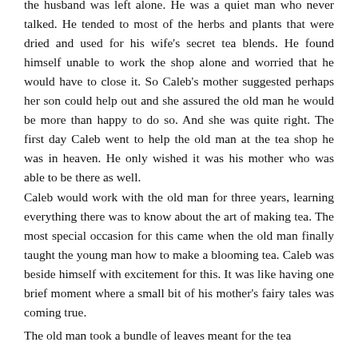the husband was left alone. He was a quiet man who never talked. He tended to most of the herbs and plants that were dried and used for his wife's secret tea blends. He found himself unable to work the shop alone and worried that he would have to close it. So Caleb's mother suggested perhaps her son could help out and she assured the old man he would be more than happy to do so. And she was quite right. The first day Caleb went to help the old man at the tea shop he was in heaven. He only wished it was his mother who was able to be there as well.
Caleb would work with the old man for three years, learning everything there was to know about the art of making tea. The most special occasion for this came when the old man finally taught the young man how to make a blooming tea. Caleb was beside himself with excitement for this. It was like having one brief moment where a small bit of his mother's fairy tales was coming true.
The old man took a bundle of leaves meant for the tea